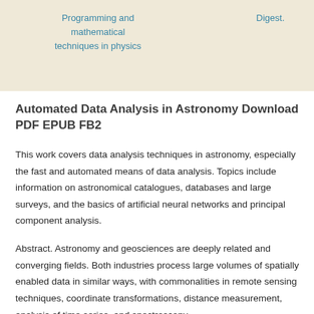Programming and mathematical techniques in physics
Digest.
Automated Data Analysis in Astronomy Download PDF EPUB FB2
This work covers data analysis techniques in astronomy, especially the fast and automated means of data analysis. Topics include information on astronomical catalogues, databases and large surveys, and the basics of artificial neural networks and principal component analysis.
Abstract. Astronomy and geosciences are deeply related and converging fields. Both industries process large volumes of spatially enabled data in similar ways, with commonalities in remote sensing techniques, coordinate transformations, distance measurement, analysis of time series, and spectroscopy.